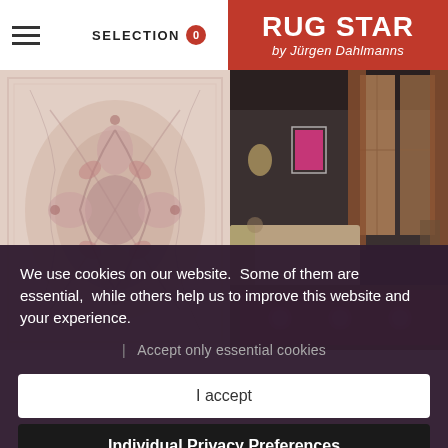SELECTION 0
[Figure (logo): Rug Star by Jürgen Dahlmanns logo on red background]
[Figure (photo): Close-up of a floral/botanical patterned rug with pink and rose tones]
[Figure (photo): Interior room scene with sofa and patterned rug on floor, dark walls and tall windows]
We use cookies on our website.  Some of them are essential,  while others help us to improve this website and your experience.
Accept only essential cookies
I accept
Individual Privacy Preferences